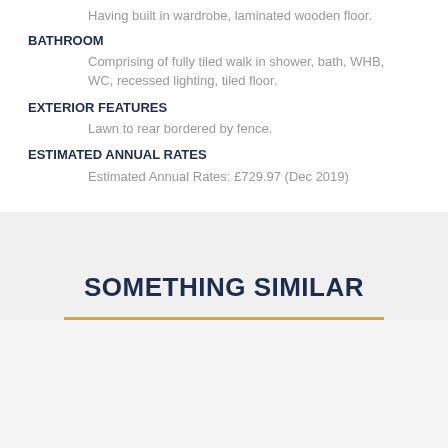Having built in wardrobe, laminated wooden floor.
BATHROOM
Comprising of fully tiled walk in shower, bath, WHB, WC, recessed lighting, tiled floor.
EXTERIOR FEATURES
Lawn to rear bordered by fence.
ESTIMATED ANNUAL RATES
Estimated Annual Rates: £729.97 (Dec 2019)
SOMETHING SIMILAR